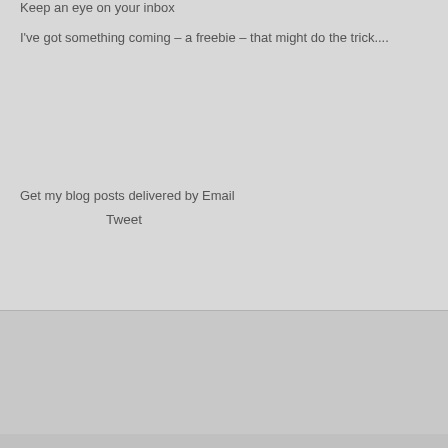Keep an eye on your inbox
I've got something coming – a freebie – that might do the trick....
Get my blog posts delivered by Email
Tweet
Previous Post
◄ The Question That Reduces Some People To Tears....
Next Post
"Pulling Back The Curtain On A Six Figure Income" ►